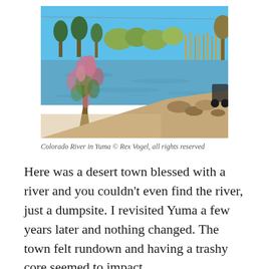[Figure (photo): Photograph of the Colorado River in Yuma showing blue water, flowering shrubs in the foreground, and trees and reeds along the far bank under a clear blue sky.]
Colorado River in Yuma © Rex Vogel, all rights reserved
Here was a desert town blessed with a river and you couldn't even find the river, just a dumpsite. I revisited Yuma a few years later and nothing changed. The town felt rundown and having a trashy core seemed to impact